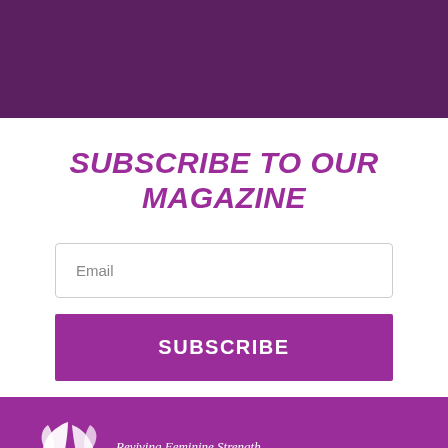[Figure (other): Dark purple rectangular header banner at the top of the page]
SUBSCRIBE TO OUR MAGAZINE
Email
SUBSCRIBE
[Figure (logo): ALIRA magazine logo with white leaf/flower icon on purple background, tagline: Reviving Feminine Strength]